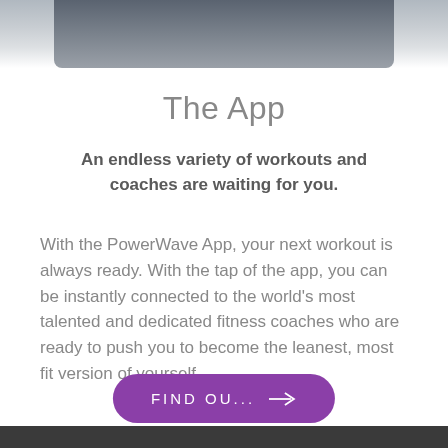[Figure (photo): Partial photo of a person in dark athletic wear, cropped at top of page]
The App
An endless variety of workouts and coaches are waiting for you.
With the PowerWave App, your next workout is always ready.  With the tap of the app, you can be instantly connected to the world's most talented and dedicated fitness coaches who are ready to push you to become the leanest, most fit version of yourself.
FIND OU...  →
[Figure (photo): Dark gray/charcoal bar at bottom of page]